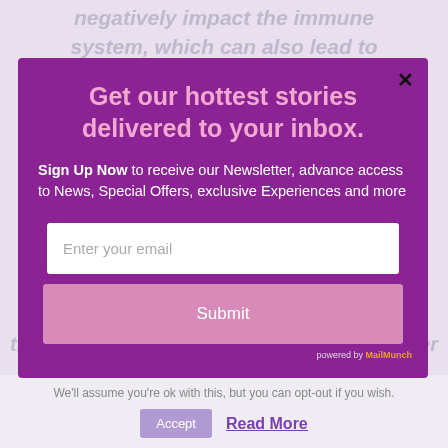negatively impact the immune system, which can also lead to problems with physical health.
Get our hottest stories delivered to your inbox.
Sign Up Now to receive our Newsletter, advance access to News, Special Offers, exclusive Experiences and more
Enter your email
Submit
powered by MailMunch
We'll assume you're ok with this, but you can opt-out if you wish.
Accept
Read More